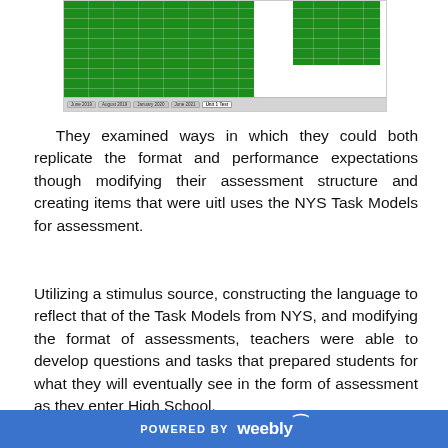[Figure (screenshot): Screenshot of a spreadsheet with green highlighted cells and multiple tabs at the bottom including 'June 2019', 'August 2019', 'January 2020', 'June 2021', and 'Unit 1 Test']
They examined ways in which they could both replicate the format and performance expectations though modifying their assessment structure and creating items that were uitl uses the NYS Task Models for assessment.
Utilizing a stimulus source, constructing the language to reflect that of the Task Models from NYS, and modifying the format of assessments, teachers were able to develop questions and tasks that prepared students for what they will eventually see in the form of assessment as they enter High School.
POWERED BY weebly